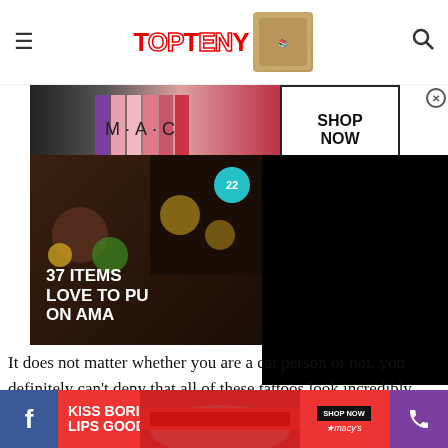TopTeny
[Figure (infographic): MAC cosmetics advertisement banner showing lipsticks in pink and red, MAC logo, and SHOP NOW button]
[Figure (infographic): 37 Items You'll Love To Put On Amazon promo card with badge showing 22, dark background with food/spice imagery]
[Figure (other): Black video overlay panel]
It does not matter whether you are a cat person or not, you definitely can't deny that all of these tattoos look incredibly lovely. If you have ever, at any point in your life, thought about getting a tattoo, you should consid getting
[Figure (infographic): Macy's KISS BORING LIPS GOODBYE advertisement at bottom with SHOP NOW button, and social media bar with Facebook and phone icons]